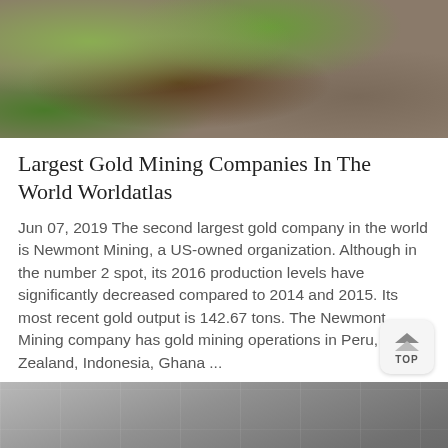[Figure (photo): Aerial or ground-level photo showing green vegetation and reddish-brown rocky/earthy terrain, likely a mining site landscape.]
Largest Gold Mining Companies In The World Worldatlas
Jun 07, 2019 The second largest gold company in the world is Newmont Mining, a US-owned organization. Although in the number 2 spot, its 2016 production levels have significantly decreased compared to 2014 and 2015. Its most recent gold output is 142.67 tons. The Newmont Mining company has gold mining operations in Peru, New Zealand, Indonesia, Ghana ...
[Figure (photo): Interior of an industrial mining facility showing a large corrugated metal roof structure and heavy machinery/conveyors in a warehouse setting.]
[Figure (other): Orange bottom bar with Message button on the left and Online Chat button (with headset icon) on the right, and a customer service avatar on the left side.]